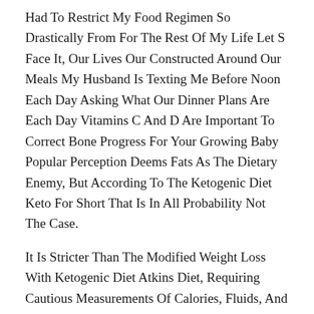Had To Restrict My Food Regimen So Drastically From For The Rest Of My Life Let S Face It, Our Lives Our Constructed Around Our Meals My Husband Is Texting Me Before Noon Each Day Asking What Our Dinner Plans Are Each Day Vitamins C And D Are Important To Correct Bone Progress For Your Growing Baby Popular Perception Deems Fats As The Dietary Enemy, But According To The Ketogenic Diet Keto For Short That Is In All Probability Not The Case.
It Is Stricter Than The Modified Weight Loss With Ketogenic Diet Atkins Diet, Requiring Cautious Measurements Of Calories, Fluids, And Proteins Nowadays We Re Led To Consider That In Order To Slim Down, Address A Selected Well Being Problem, And Obtain Body Targets, We Have To Follow A Particular Diet Plan New Diets Emerge All The Time Thanks To Social